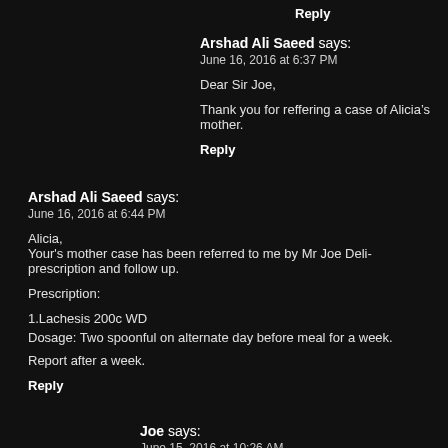Reply
Arshad Ali Saeed says:
June 16, 2016 at 6:37 PM
Dear Sir Joe,
Thank you for reffering a case of Alicia's mother.
Reply
Arshad Ali Saeed says:
June 16, 2016 at 6:44 PM
Alicia,
Your's mother case has been referred to me by Mr Joe Deli... prescription and follow up.
Prescription:
1.Lachesis 200c WD
Dosage: Two spoonful on alternate day before meal for a week.
Report after a week.
Reply
Joe says:
June 15, 2016 at 10:26 AM